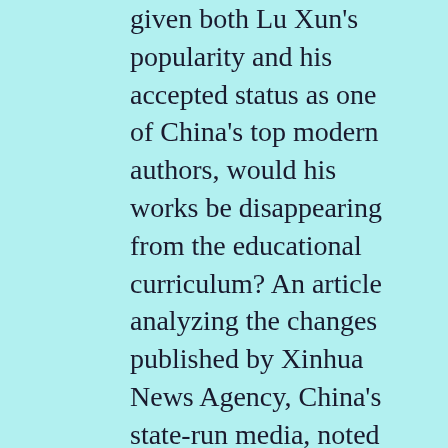given both Lu Xun's popularity and his accepted status as one of China's top modern authors, would his works be disappearing from the educational curriculum? An article analyzing the changes published by Xinhua News Agency, China's state-run media, noted that, "Middle school students should not be